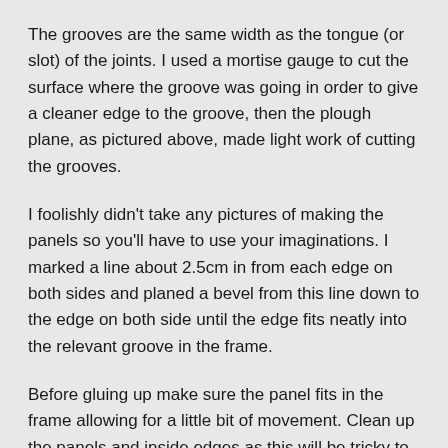The grooves are the same width as the tongue (or slot) of the joints. I used a mortise gauge to cut the surface where the groove was going in order to give a cleaner edge to the groove, then the plough plane, as pictured above, made light work of cutting the grooves.
I foolishly didn't take any pictures of making the panels so you'll have to use your imaginations. I marked a line about 2.5cm in from each edge on both sides and planed a bevel from this line down to the edge on both side until the edge fits neatly into the relevant groove in the frame.
Before gluing up make sure the panel fits in the frame allowing for a little bit of movement. Clean up the panels and inside edges as this will be tricky to do once the frame is glued.
When it all fits together and the joints seat nicely it can be